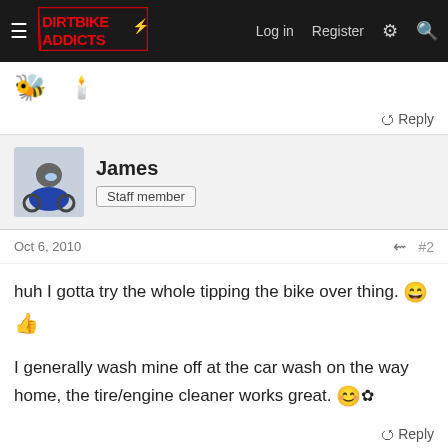DIRTBIKE ADDICTS — Log in | Register
[Figure (screenshot): Previous post with bee and candle emoji, Reply button]
James
Staff member
Oct 6, 2010  #2
huh I gotta try the whole tipping the bike over thing. [emoji]

I generally wash mine off at the car wash on the way home, the tire/engine cleaner works great. [emoji]
PBK